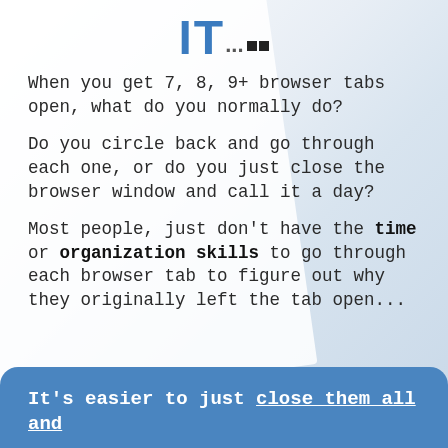[Figure (logo): IT... logo with two black squares, blue bold IT text]
When you get 7, 8, 9+ browser tabs open, what do you normally do?
Do you circle back and go through each one, or do you just close the browser window and call it a day?
Most people, just don't have the time or organization skills to go through each browser tab to figure out why they originally left the tab open...
It's easier to just close them all and